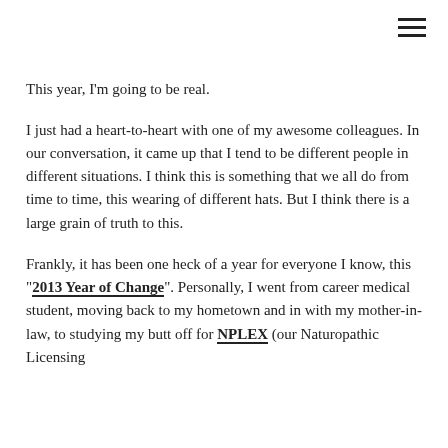[Figure (other): Hamburger menu icon (three horizontal lines) in top right corner]
This year, I'm going to be real.
I just had a heart-to-heart with one of my awesome colleagues. In our conversation, it came up that I tend to be different people in different situations. I think this is something that we all do from time to time, this wearing of different hats. But I think there is a large grain of truth to this.
Frankly, it has been one heck of a year for everyone I know, this "2013 Year of Change". Personally, I went from career medical student, moving back to my hometown and in with my mother-in-law, to studying my butt off for NPLEX (our Naturopathic Licensing